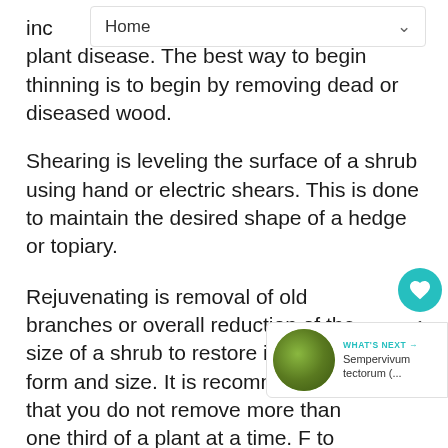Home
inc plant disease. The best way to begin thinning is to begin by removing dead or diseased wood.
Shearing is leveling the surface of a shrub using hand or electric shears. This is done to maintain the desired shape of a hedge or topiary.
Rejuvenating is removal of old branches or overall reduction of the size of a shrub to restore its original form and size. It is recommended that you do not remove more than one third of a plant at a time. F to remove branches from the inside of the plant as well as the outside. When rejuvenating
[Figure (illustration): Sempervivum tectorum plant thumbnail for 'What's Next' widget]
WHAT'S NEXT → Sempervivum tectorum (...